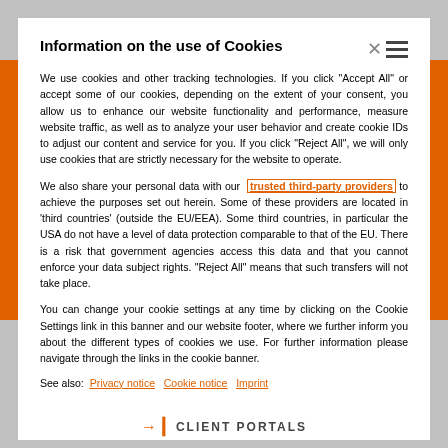Information on the use of Cookies
We use cookies and other tracking technologies. If you click “Accept All” or accept some of our cookies, depending on the extent of your consent, you allow us to enhance our website functionality and performance, measure website traffic, as well as to analyze your user behavior and create cookie IDs to adjust our content and service for you. If you click “Reject All”, we will only use cookies that are strictly necessary for the website to operate.
We also share your personal data with our trusted third-party providers to achieve the purposes set out herein. Some of these providers are located in ‘third countries’ (outside the EU/EEA). Some third countries, in particular the USA do not have a level of data protection comparable to that of the EU. There is a risk that government agencies access this data and that you cannot enforce your data subject rights. “Reject All” means that such transfers will not take place.
You can change your cookie settings at any time by clicking on the Cookie Settings link in this banner and our website footer, where we further inform you about the different types of cookies we use. For further information please navigate through the links in the cookie banner.
See also:  Privacy notice   Cookie notice   Imprint